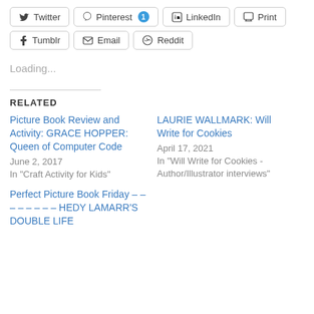Twitter
Pinterest 1
LinkedIn
Print
Tumblr
Email
Reddit
Loading...
RELATED
Picture Book Review and Activity: GRACE HOPPER: Queen of Computer Code
June 2, 2017
In "Craft Activity for Kids"
LAURIE WALLMARK: Will Write for Cookies
April 17, 2021
In "Will Write for Cookies - Author/Illustrator interviews"
Perfect Picture Book Friday – – – – – – – – HEDY LAMARR'S DOUBLE LIFE